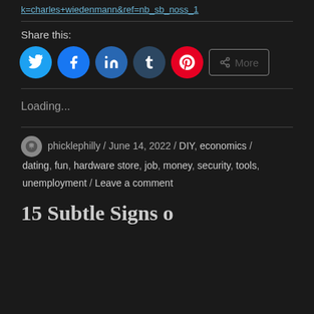k=charles+wiedenmann&ref=nb_sb_noss_1
Share this:
[Figure (infographic): Social share buttons: Twitter (blue circle), Facebook (blue circle), LinkedIn (dark blue circle), Tumblr (dark slate circle), Pinterest (red circle), and a More button with share icon]
Loading...
phicklephilly / June 14, 2022 / DIY, economics / dating, fun, hardware store, job, money, security, tools, unemployment / Leave a comment
15 Subtle Signs o